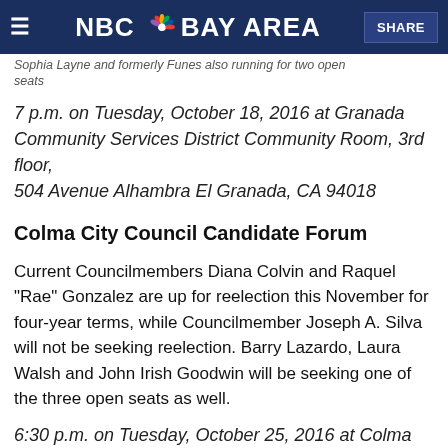NBC Bay Area
Sophia Layne and formerly Funes also running for two open seats
7 p.m. on Tuesday, October 18, 2016 at Granada Community Services District Community Room, 3rd floor, 504 Avenue Alhambra El Granada, CA 94018
Colma City Council Candidate Forum
Current Councilmembers Diana Colvin and Raquel "Rae" Gonzalez are up for reelection this November for four-year terms, while Councilmember Joseph A. Silva will not be seeking reelection. Barry Lazardo, Laura Walsh and John Irish Goodwin will be seeking one of the three open seats as well.
6:30 p.m. on Tuesday, October 25, 2016 at Colma